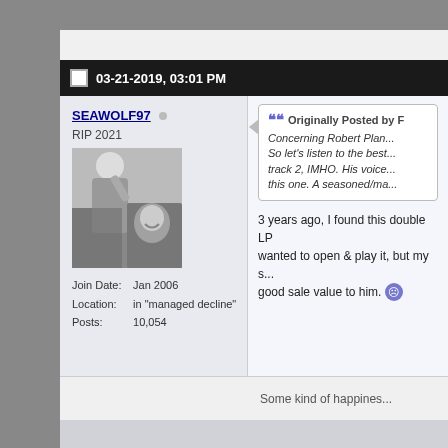03-21-2019, 03:01 PM
SEAWOLF97 · RIP 2021
[Figure (photo): Black and white photo of a person in uniform shielding their eyes, with a smiling woman visible through a car window]
Join Date: Jan 2006
Location: in "managed decline"
Posts: 10,054
Originally Posted by F...
Concerning Robert Plan... So let's listen to the best... track 2, IMHO. His voice... this one. A seasoned/ma...
3 years ago, I found this double LP... wanted to open & play it, but my s... good sale value to him. 😟
Some kind of happines...